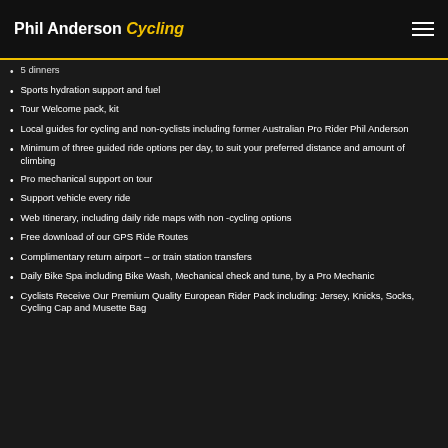Phil Anderson Cycling
5 dinners
Sports hydration support and fuel
Tour Welcome pack, kit
Local guides for cycling and non-cyclists including former Australian Pro Rider Phil Anderson
Minimum of three guided ride options per day, to suit your preferred distance and amount of climbing
Pro mechanical support on tour
Support vehicle every ride
Web Itinerary, including daily ride maps with non -cycling options
Free download of our GPS Ride Routes
Complimentary return airport – or train station transfers
Daily Bike Spa including Bike Wash, Mechanical check and tune, by a Pro Mechanic
Cyclists Receive Our Premium Quality European Rider Pack including: Jersey, Knicks, Socks, Cycling Cap and Musette Bag